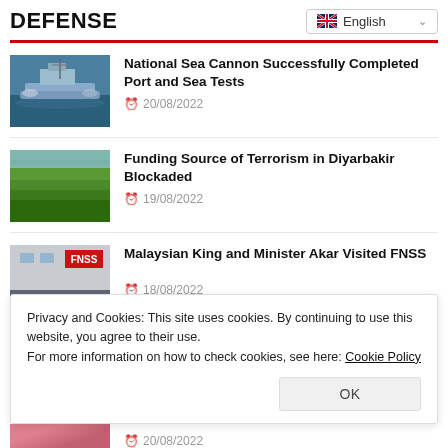DEFENSE
English
National Sea Cannon Successfully Completed Port and Sea Tests — 20/08/2022
Funding Source of Terrorism in Diyarbakir Blockaded — 19/08/2022
Malaysian King and Minister Akar Visited FNSS — 18/08/2022
Privacy and Cookies: This site uses cookies. By continuing to use this website, you agree to their use.
For more information on how to check cookies, see here: Cookie Policy